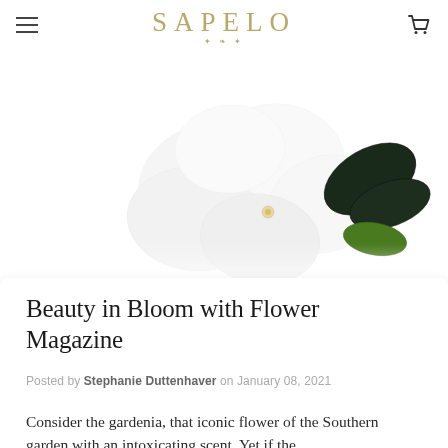SAPELO
[Figure (photo): Close-up of a white gardenia or magnolia flower with dark green leaves on a white background]
Beauty in Bloom with Flower Magazine
Posted by Stephanie Duttenhaver on January 08, 2021
Consider the gardenia, that iconic flower of the Southern garden with an intoxicating scent. Yet if the